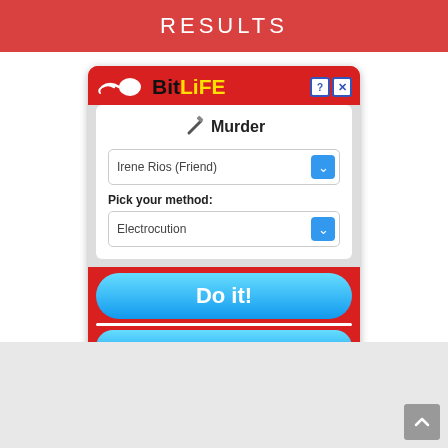RESULTS
[Figure (screenshot): BitLife mobile game screenshot showing Murder menu with target 'Irene Rios (Friend)', method 'Electrocution', 'Do it!' button and 'No, what am I thinking?' button on red background]